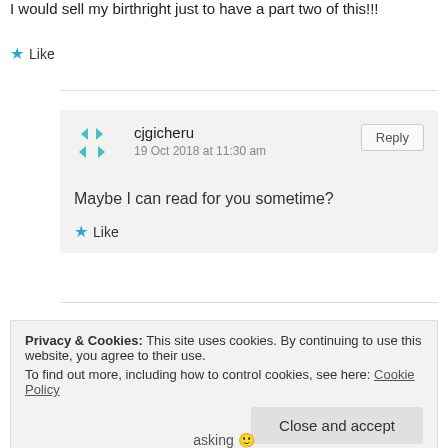I would sell my birthright just to have a part two of this!!!
★ Like
cjgicheru
19 Oct 2018 at 11:30 am
Maybe I can read for you sometime?
★ Like
Privacy & Cookies: This site uses cookies. By continuing to use this website, you agree to their use. To find out more, including how to control cookies, see here: Cookie Policy
Close and accept
asking 🙂